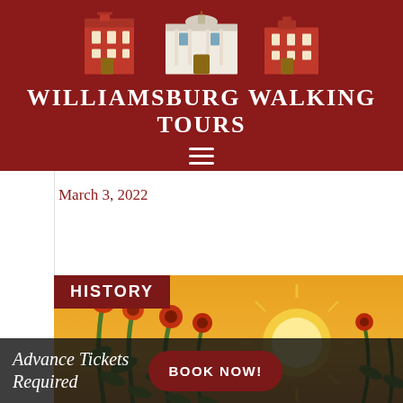[Figure (logo): Williamsburg Walking Tours logo with illustrated colonial buildings above the text]
Williamsburg Walking Tours
[Figure (other): Hamburger menu icon (three horizontal white lines)]
March 3, 2022
[Figure (illustration): Colorful painting of sunflowers or wheat stalks against an orange/yellow sky with a bright sun, in a style reminiscent of Van Gogh]
HISTORY
Advance Tickets Required
BOOK NOW!